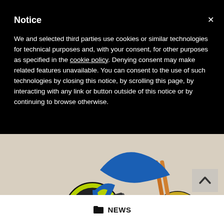Notice
We and selected third parties use cookies or similar technologies for technical purposes and, with your consent, for other purposes as specified in the cookie policy. Denying consent may make related features unavailable. You can consent to the use of such technologies by closing this notice, by scrolling this page, by interacting with any link or button outside of this notice or by continuing to browse otherwise.
[Figure (photo): A motorcycle rider performing a stunt or racing on a dirt/sandy surface, with yellow-green wheels and blue gear visible, photographed from low angle showing front wheel lifted.]
NEWS